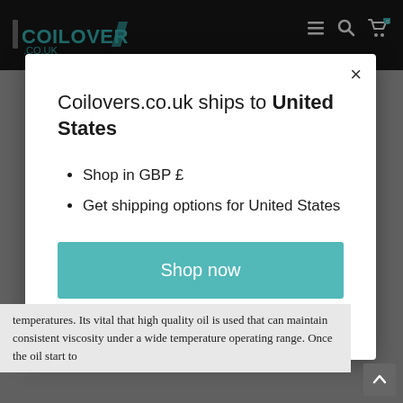COILOVERS.CO.UK
[Figure (screenshot): Modal dialog on coilovers.co.uk website with close button (×), title 'Coilovers.co.uk ships to United States', bullet points listing 'Shop in GBP £' and 'Get shipping options for United States', a teal 'Shop now' button, and a 'Change shipping country' link.]
temperatures. Its vital that high quality oil is used that can maintain consistent viscosity under a wide temperature operating range. Once the oil start to